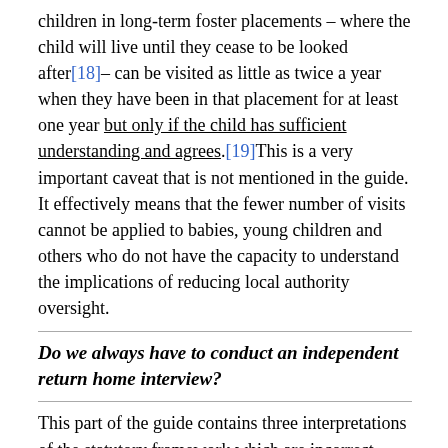children in long-term foster placements – where the child will live until they cease to be looked after[18]– can be visited as little as twice a year when they have been in that placement for at least one year but only if the child has sufficient understanding and agrees.[19]This is a very important caveat that is not mentioned in the guide. It effectively means that the fewer number of visits cannot be applied to babies, young children and others who do not have the capacity to understand the implications of reducing local authority oversight.
Do we always have to conduct an independent return home interview?
This part of the guide contains three interpretations of the statutory framework which are incorrect.